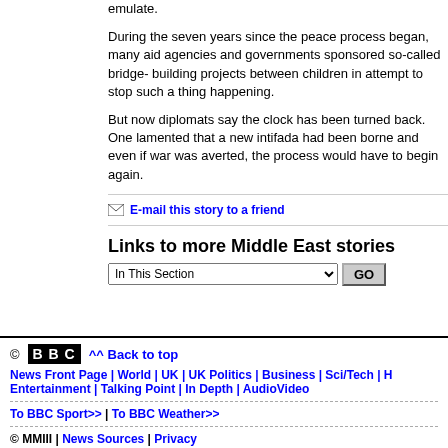emulate.
During the seven years since the peace process began, many aid agencies and governments sponsored so-called bridge- building projects between children in attempt to stop such a thing happening.
But now diplomats say the clock has been turned back. One lamented that a new intifada had been borne and even if war was averted, the process would have to begin again.
E-mail this story to a friend
Links to more Middle East stories
In This Section [GO]
© BBC ^^ Back to top | News Front Page | World | UK | UK Politics | Business | Sci/Tech | H... Entertainment | Talking Point | In Depth | AudioVideo | To BBC Sport>> | To BBC Weather>> | © MMIII | News Sources | Privacy